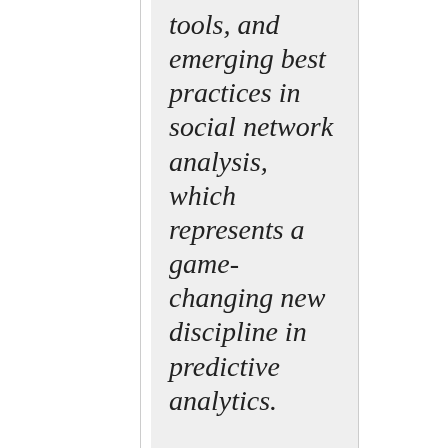tools, and emerging best practices in social network analysis, which represents a game-changing new discipline in predictive analytics.